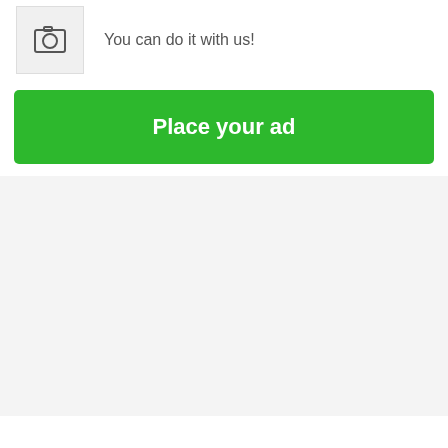[Figure (illustration): Camera/photo icon placeholder in a light grey box]
You can do it with us!
Place your ad